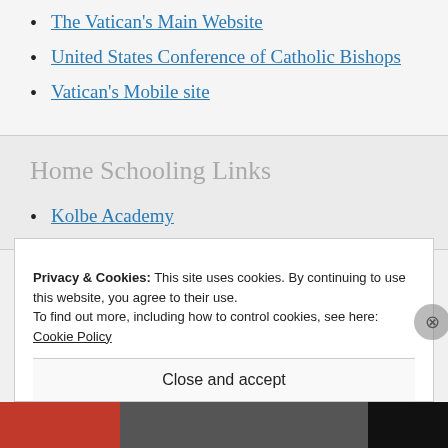The Vatican's Main Website
United States Conference of Catholic Bishops
Vatican's Mobile site
Home Schooling Links
Kolbe Academy
Privacy & Cookies: This site uses cookies. By continuing to use this website, you agree to their use.
To find out more, including how to control cookies, see here: Cookie Policy
Close and accept